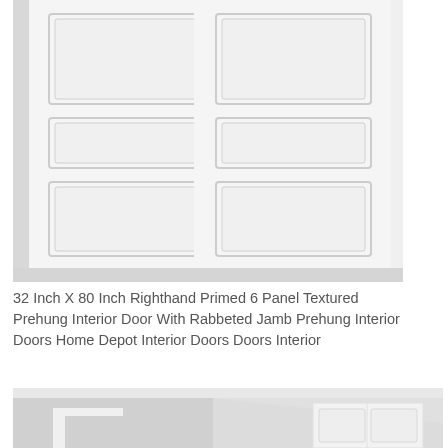[Figure (photo): Close-up photo of a white 6-panel interior door with raised panel molding, primed white finish with textured surface, shown against a light background with door frame visible on left and bottom.]
32 Inch X 80 Inch Righthand Primed 6 Panel Textured Prehung Interior Door With Rabbeted Jamb Prehung Interior Doors Home Depot Interior Doors Doors Interior
[Figure (photo): Interior room photo showing a white door frame and a white bifold or double door installed in a hallway or room with light gray walls and white ceiling.]